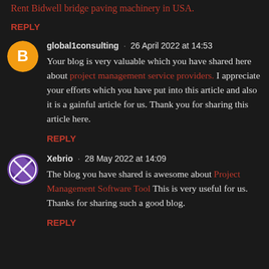Rent Bidwell bridge paving machinery in USA.
REPLY
global1consulting · 26 April 2022 at 14:53
Your blog is very valuable which you have shared here about project management service providers. I appreciate your efforts which you have put into this article and also it is a gainful article for us. Thank you for sharing this article here.
REPLY
Xebrio · 28 May 2022 at 14:09
The blog you have shared is awesome about Project Management Software Tool This is very useful for us. Thanks for sharing such a good blog.
REPLY